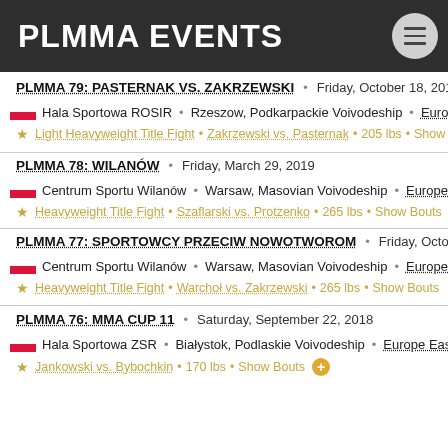PLMMA EVENTS
PLMMA 79: PASTERNAK VS. ZAKRZEWSKI  •  Friday, October 18, 2019
Hala Sportowa ROSIR  •  Rzeszow, Podkarpackie Voivodeship  •  Europe
★  Light Heavyweight Title Fight  •  Zakrzewski vs. Pasternak  •  205 lbs  •  Show
PLMMA 78: WILANÓW  •  Friday, March 29, 2019
Centrum Sportu Wilanów  •  Warsaw, Masovian Voivodeship  •  Europe Ea
★  Heavyweight Title Fight  •  Szaflarski vs. Protzenko  •  265 lbs  •  Show Bouts
PLMMA 77: SPORTOWCY PRZECIW NOWOTWOROM  •  Friday, Octob
Centrum Sportu Wilanów  •  Warsaw, Masovian Voivodeship  •  Europe Ea
★  Heavyweight Title Fight  •  Warchoł vs. Zakrzewski  •  265 lbs  •  Show Bouts
PLMMA 76: MMA CUP 11  •  Saturday, September 22, 2018
Hala Sportowa ZSR  •  Białystok, Podlaskie Voivodeship  •  Europe Eastern
★  Jankowski vs. Bybochkin  •  170 lbs  •  Show Bouts  ⊕